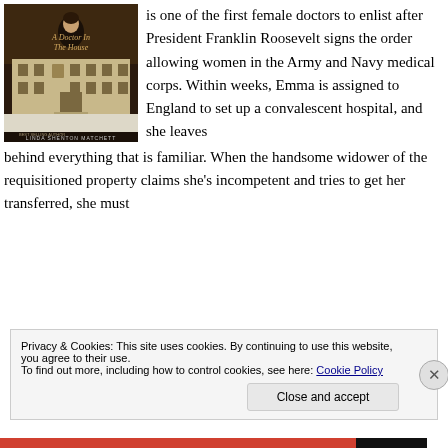[Figure (illustration): Book cover of 'A Doctor In The House' by Linda Shenton Matchett, showing a woman in period dress against a backdrop of a large house, dark tones]
is one of the first female doctors to enlist after President Franklin Roosevelt signs the order allowing women in the Army and Navy medical corps. Within weeks, Emma is assigned to England to set up a convalescent hospital, and she leaves behind everything that is familiar. When the handsome widower of the requisitioned property claims she's incompetent and tries to get her transferred, she must
Privacy & Cookies: This site uses cookies. By continuing to use this website, you agree to their use. To find out more, including how to control cookies, see here: Cookie Policy
Close and accept